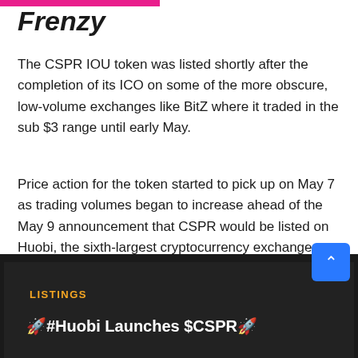Frenzy
The CSPR IOU token was listed shortly after the completion of its ICO on some of the more obscure, low-volume exchanges like BitZ where it traded in the sub $3 range until early May.
Price action for the token started to pick up on May 7 as trading volumes began to increase ahead of the May 9 announcement that CSPR would be listed on Huobi, the sixth-largest cryptocurrency exchange, a development that was registered by the Cointelegraph Markets Pro 'NewsQuakes' system ahead of the price rally.
LISTINGS
🚀#Huobi Launches $CSPR🚀